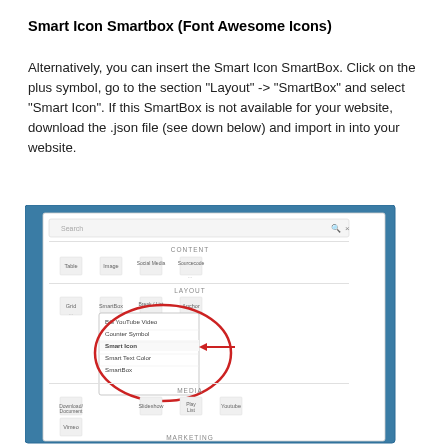Smart Icon Smartbox (Font Awesome Icons)
Alternatively, you can insert the Smart Icon SmartBox. Click on the plus symbol, go to the section "Layout" -> "SmartBox" and select "Smart Icon". If this SmartBox is not available for your website, download the .json file (see down below) and import in into your website.
[Figure (screenshot): Screenshot of a web editor interface showing a SmartBox/content menu with sections CONTENT, LAYOUT, and MARKETING. A red circle highlights a dropdown menu under SmartBox with options including BG YouTube Video, Counter Symbol, Smart Icon (with red arrow pointing to it), Smart Text Color, and SmartBox. The LAYOUT section shows icons for Grid, SmartBox, Break/List, and Anchor. MARKETING section shows Marketing Flow, Popup, and Form icons. FORMS section shows Form and Checkbox icons.]